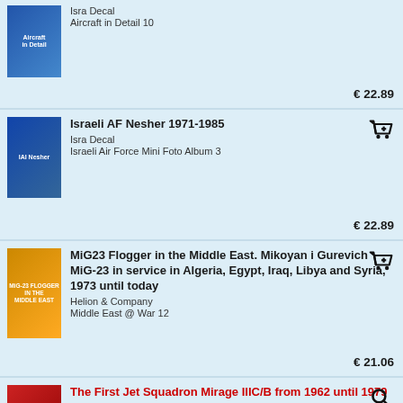[Figure (photo): Book cover for Aircraft in Detail 10 by Isra Decal showing aircraft]
Isra Decal
Aircraft in Detail 10
€ 22.89
[Figure (photo): Book cover IAI Nesher by Isra Decal]
Israeli AF Nesher 1971-1985
Isra Decal
Israeli Air Force Mini Foto Album 3
€ 22.89
[Figure (photo): Book cover MiG-23 Flogger in the Middle East by Helion & Company]
MiG23 Flogger in the Middle East. Mikoyan i Gurevich MiG-23 in service in Algeria, Egypt, Iraq, Libya and Syria, 1973 until today
Helion & Company
Middle East @ War 12
€ 21.06
[Figure (photo): Book cover The First Jet Squadron Mirage IIIC/B from 1962 until 1979 by Isra Decal]
The First Jet Squadron Mirage IIIC/B from 1962 until 1979
Isra Decal
Israeli Air Force Mini Photo Album 2
€ 23.81